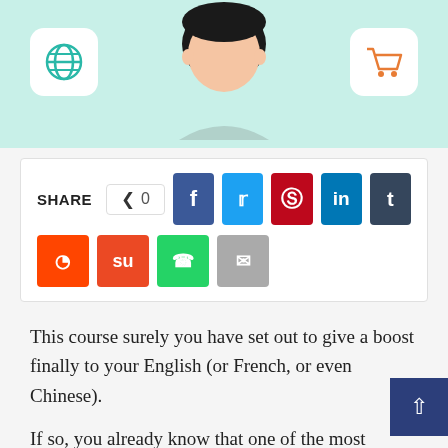[Figure (illustration): Screenshot of a language learning app webpage showing a cartoon character (person) with a globe icon on the left and a shopping cart icon on the right, on a mint/teal background.]
SHARE  0  [social share buttons: Facebook, Twitter, Pinterest, LinkedIn, Tumblr, Reddit, StumbleUpon, WhatsApp, Email]
This course surely you have set out to give a boost finally to your English (or French, or even Chinese).
If so, you already know that one of the most straightforward and most practical ways to learn languages today is our smartphone.
With mobile applications, you can not only expand your vocabulary and reinforce grammar. You will also...